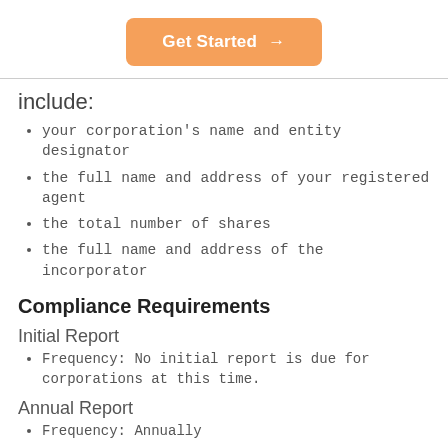[Figure (other): Orange 'Get Started →' button]
include:
your corporation's name and entity designator
the full name and address of your registered agent
the total number of shares
the full name and address of the incorporator
Compliance Requirements
Initial Report
Frequency: No initial report is due for corporations at this time.
Annual Report
Frequency: Annually